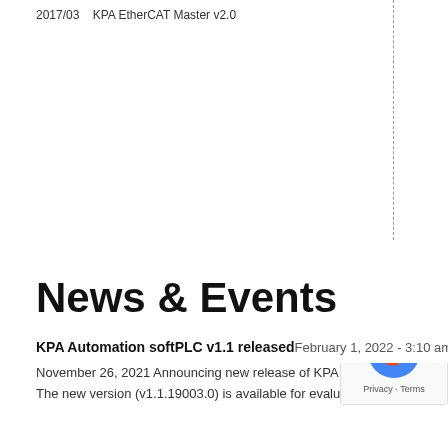2017/03    KPA EtherCAT Master v2.0
News & Events
KPA Automation softPLC v1.1 released
February 1, 2022 - 3:10 am
November 26, 2021 Announcing new release of KPA Automation sof…
The new version (v1.1.19003.0) is available for evaluation and orderi…